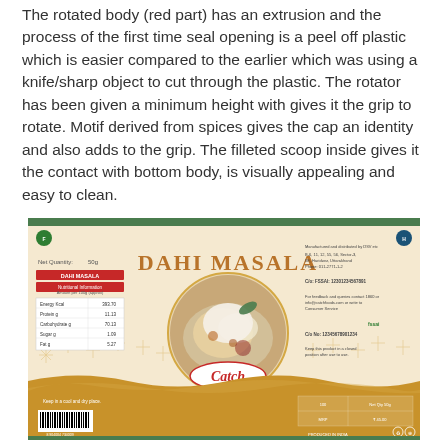The rotated body (red part) has an extrusion and the process of the first time seal opening is a peel off plastic which is easier compared to the earlier which was using a knife/sharp object to cut through the plastic. The rotator has been given a minimum height with gives it the grip to rotate. Motif derived from spices gives the cap an identity and also adds to the grip. The filleted scoop inside gives it the contact with bottom body, is visually appealing and easy to clean.
[Figure (illustration): Dahi Masala spice product label by Catch brand. Cream/beige background with gold ornamental snowflake patterns. Left panel shows product name 'DAHI MASALA' in gold/brown serif font, nutrition information table, Net Quantity: 50g, FSSAI logo, barcode. Center shows a circular food photograph of a dahi masala dish. Bottom wave pattern in golden brown. Right panel has manufacturer/distributor information and halal/other logos.]